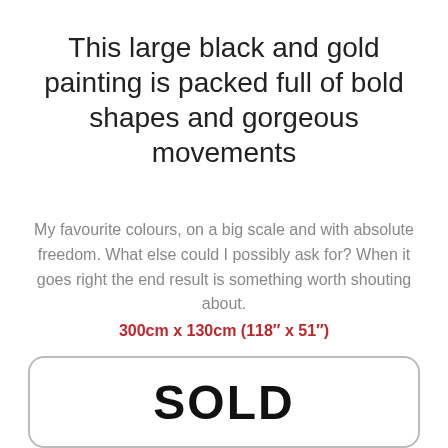This large black and gold painting is packed full of bold shapes and gorgeous movements
My favourite colours, on a big scale and with absolute freedom. What else could I possibly ask for? When it goes right the end result is something worth shouting about. 300cm x 130cm (118″ x 51″)
SOLD